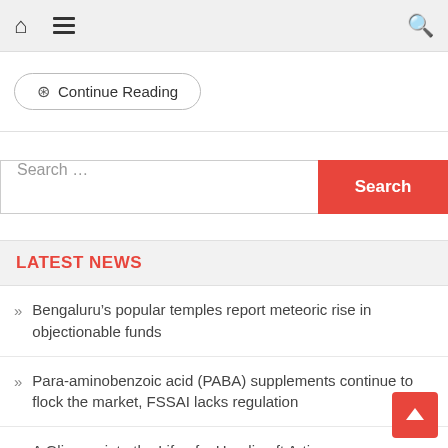Navigation bar with home icon, menu icon, and search icon
Continue Reading
Search ...
LATEST NEWS
Bengaluru's popular temples report meteoric rise in objectionable funds
Para-aminobenzoic acid (PABA) supplements continue to flock the market, FSSAI lacks regulation
A Glimpse into the Life of a Handicraft Artisan
Is she allowed?